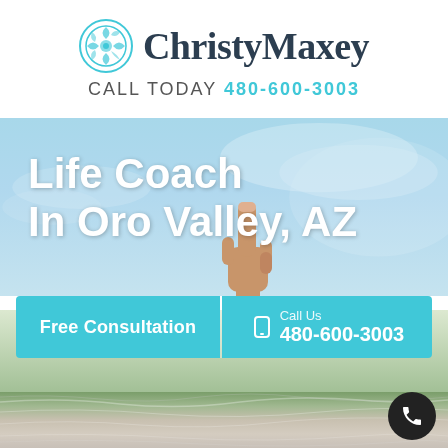ChristyMaxey
CALL TODAY 480-600-3003
[Figure (photo): Hero section with outdoor sky background and hand pointing upward. White bold text reads 'Life Coach In Oro Valley, AZ'. Teal CTA bar with 'Free Consultation' button and 'Call Us 480-600-3003' phone link.]
[Figure (photo): Bottom strip showing top of a person's gray hair, outdoors with greenery.]